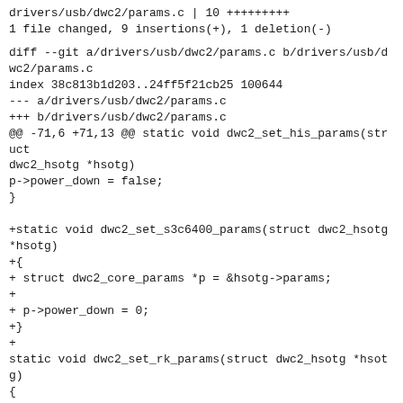drivers/usb/dwc2/params.c | 10 +++++++++
1 file changed, 9 insertions(+), 1 deletion(-)
diff --git a/drivers/usb/dwc2/params.c b/drivers/usb/dwc2/params.c
index 38c813b1d203..24ff5f21cb25 100644
--- a/drivers/usb/dwc2/params.c
+++ b/drivers/usb/dwc2/params.c
@@ -71,6 +71,13 @@ static void dwc2_set_his_params(struct dwc2_hsotg *hsotg)
p->power_down = false;
}

+static void dwc2_set_s3c6400_params(struct dwc2_hsotg *hsotg)
+{
+ struct dwc2_core_params *p = &hsotg->params;
+
+ p->power_down = 0;
+}
+
static void dwc2_set_rk_params(struct dwc2_hsotg *hsotg)
{
struct dwc2_core_params *p = &hsotg->params;
@@ -152,7 +159,8 @@ const struct of_device_id dwc2_of_match_table[] = {
{ .compatible = "lantiq,arx100-usb", .data = dwc2_set_ltq_params
}